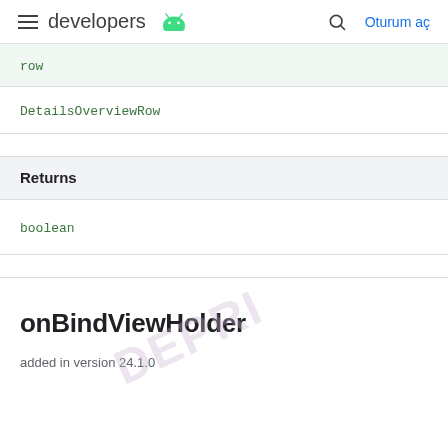developers | Oturum aç
| row |
| DetailsOverviewRow |
| Returns |
| --- |
| boolean |
onBindViewHolder
added in version 24.1.0